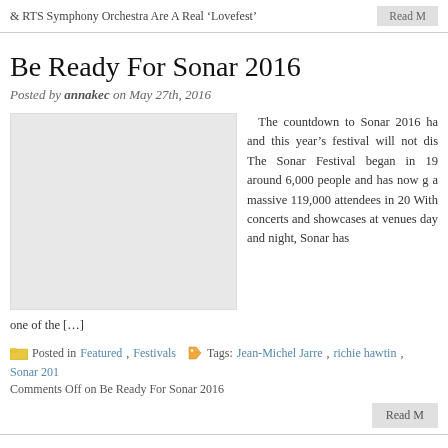& RTS Symphony Orchestra Are A Real ‘Lovefest’
Read M[ore]
Be Ready For Sonar 2016
Posted by annakec on May 27th, 2016
[Figure (photo): Placeholder image for Sonar 2016 article]
The countdown to Sonar 2016 ha[s begun] and this year’s festival will not dis[appoint]. The Sonar Festival began in 19[94 with] around 6,000 people and has now g[rown to] a massive 119,000 attendees in 20[15]. With concerts and showcases at [multiple] venues day and night, Sonar has [become] one of the […]
Posted in Featured, Festivals   Tags: Jean-Michel Jarre, richie hawtin, Sonar 201[6]
Comments Off on Be Ready For Sonar 2016
Read M[ore]
Exit Festival 2015: Don’t Miss This!
Posted by annakec on April 6th, 2015
[Figure (photo): Placeholder image for Exit Festival 2015 article]
Held annually at the Petrovaradin